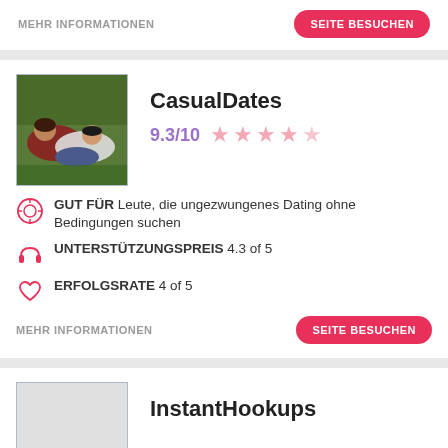MEHR INFORMATIONEN
SEITE BESUCHEN
CasualDates
9.3/10 ★★★★☆
GUT FÜR Leute, die ungezwungenes Dating ohne Bedingungen suchen
UNTERSTÜTZUNGSPREIS 4.3 of 5
ERFOLGSRATE 4 of 5
MEHR INFORMATIONEN
SEITE BESUCHEN
InstantHookups